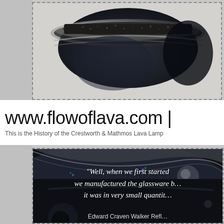[Figure (photo): Close-up photograph of the top of a lava lamp bottle showing dark granular material and metallic rim against a light background]
www.flowoflava.com |
This is the History of the Crestworth & Mathmos Lava Lamp
[Figure (photo): Close-up photograph of dark reflective glassware (lava lamp globe) with a quote overlay: "Well, when we first started we manufactured the glassware b... it was in very small quantit..." and attribution beginning "Edward Craven Walker Refl..."]